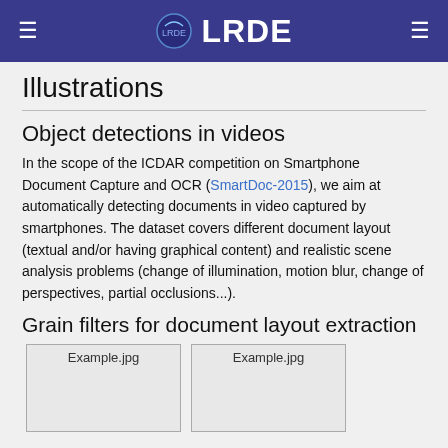LRDE
Illustrations
Object detections in videos
In the scope of the ICDAR competition on Smartphone Document Capture and OCR (SmartDoc-2015), we aim at automatically detecting documents in video captured by smartphones. The dataset covers different document layout (textual and/or having graphical content) and realistic scene analysis problems (change of illumination, motion blur, change of perspectives, partial occlusions...).
Grain filters for document layout extraction
[Figure (photo): Example.jpg placeholder image box]
[Figure (photo): Example.jpg placeholder image box]